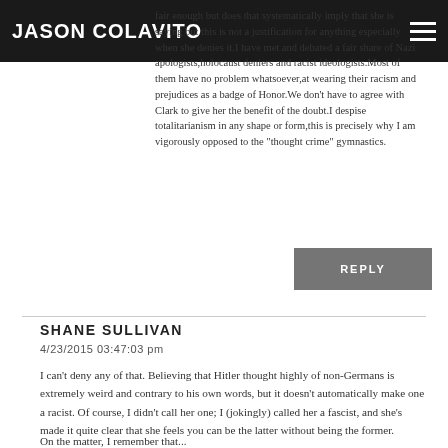JASON COLAVITO
fair enough but does that systematically imply that she is saying but this is not a justification for anything especially when she denies it.I have met and debated a fair share of Nazi apologists,holocaust deniers and racist ideologists.Most of them have no problem whatsoever,at wearing their racism and prejudices as a badge of Honor.We don't have to agree with Clark to give her the benefit of the doubt.I despise totalitarianism in any shape or form,this is precisely why I am vigorously opposed to the "thought crime" gymnastics.
REPLY
SHANE SULLIVAN
4/23/2015 03:47:03 pm
I can't deny any of that. Believing that Hitler thought highly of non-Germans is extremely weird and contrary to his own words, but it doesn't automatically make one a racist. Of course, I didn't call her one; I (jokingly) called her a fascist, and she's made it quite clear that she feels you can be the latter without being the former.
On the matter, I remember that...